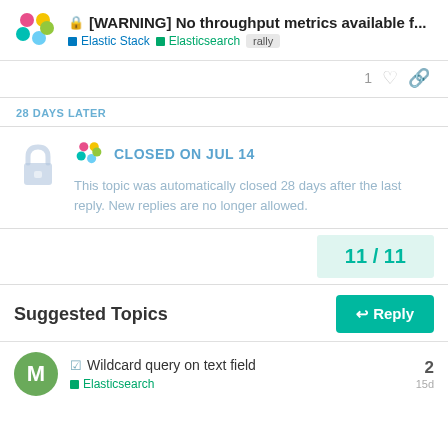[WARNING] No throughput metrics available f... | Elastic Stack | Elasticsearch | rally
1
28 DAYS LATER
CLOSED ON JUL 14
This topic was automatically closed 28 days after the last reply. New replies are no longer allowed.
11 / 11
Suggested Topics
Wildcard query on text field
Elasticsearch
2
15d